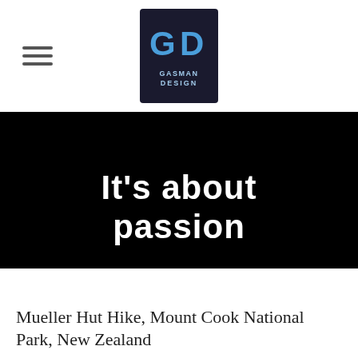[Figure (logo): GD Gasman Design logo — square dark background with stylized G and D letters in blue/white, text GASMAN DESIGN below]
It's about passion
READ ON ˅
Mueller Hut Hike, Mount Cook National Park, New Zealand